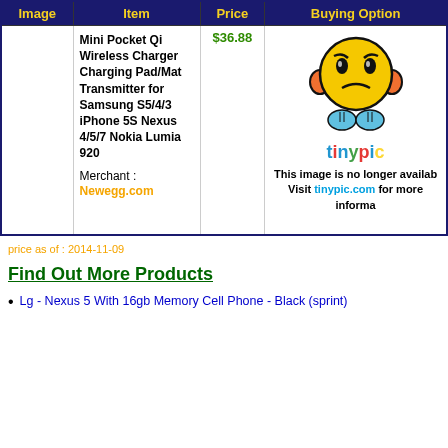| Image | Item | Price | Buying Option |
| --- | --- | --- | --- |
|  | Mini Pocket Qi Wireless Charger Charging Pad/Mat Transmitter for Samsung S5/4/3 iPhone 5S Nexus 4/5/7 Nokia Lumia 920
Merchant : Newegg.com | $36.88 | [tinypic image placeholder - image no longer available] |
price as of : 2014-11-09
Find Out More Products
Lg - Nexus 5 With 16gb Memory Cell Phone - Black (sprint)